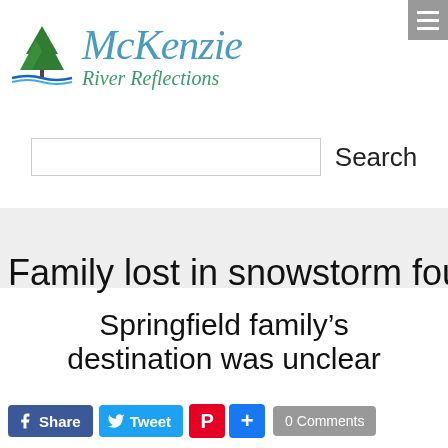[Figure (logo): McKenzie River Reflections logo with trees and river illustration, brand name in teal/blue italic serif font]
[Figure (other): Hamburger menu icon (three horizontal white lines on gray background) in top-right corner]
[Figure (other): Search input box with Search label]
Family lost in snowstorm found
Springfield family's destination was unclear
[Figure (other): Social share buttons: Facebook Share, Twitter Tweet, Pinterest, Add, 0 Comments]